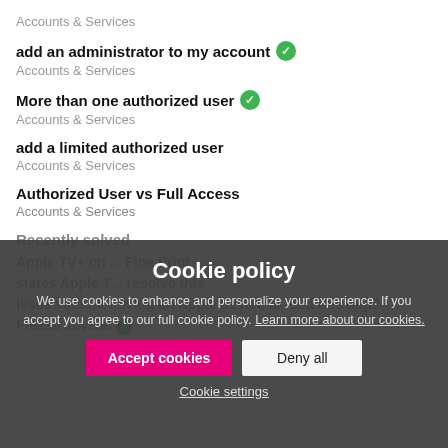Accounts & Services
add an administrator to my account ✓
Accounts & Services
More than one authorized user ✓
Accounts & Services
add a limited authorized user
Accounts & Services
Authorized User vs Full Access
Accounts & Services
Recently solved
Apple TV+ on ... Fine Print states Apple T... resolve this issue without having an Apple device to load this app? Please advise! ✓
Cookie policy
We use cookies to enhance and personalize your experience. If you accept you agree to our full cookie policy. Learn more about our cookies.
Accept cookies | Deny all | Cookie settings